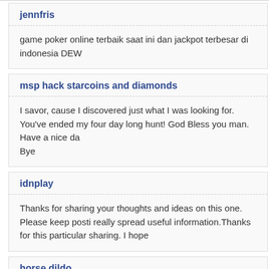jennfris
game poker online terbaik saat ini dan jackpot terbesar di indonesia DEW
msp hack starcoins and diamonds
I savor, cause I discovered just what I was looking for.
You've ended my four day long hunt! God Bless you man. Have a nice da
Bye
idnplay
Thanks for sharing your thoughts and ideas on this one. Please keep posti really spread useful information.Thanks for this particular sharing. I hope
horse dildo
horse dildo
Monday morning I attempted to page him I left for school 2 hours later with no response from him. Now I had a new job to go to on Monday and chat with him.